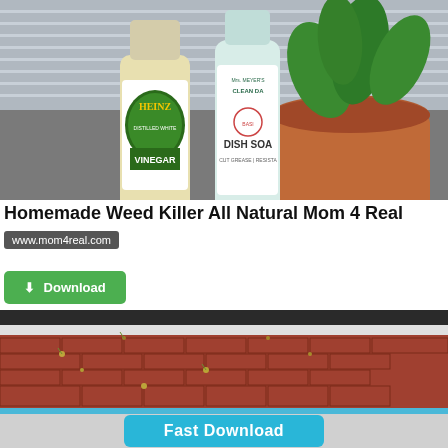[Figure (photo): Photo of Heinz Distilled White Vinegar bottle and Mrs. Meyer's Clean Day Dish Soap bottle on a kitchen counter, with a terracotta pot with green plants in the background]
Homemade Weed Killer All Natural Mom 4 Real
www.mom4real.com
[Figure (other): Green Download button with download icon]
[Figure (photo): Photo of red brick patio/pathway with weeds growing between bricks]
[Figure (other): Fast Download button in blue/cyan color on grey background]